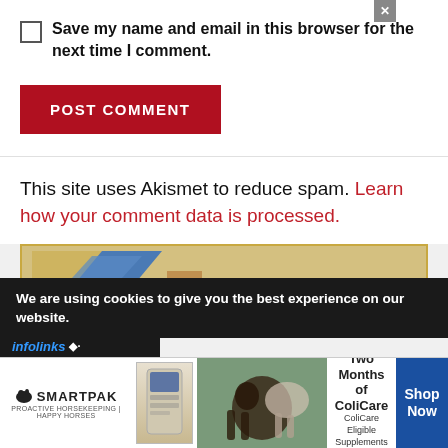Save my name and email in this browser for the next time I comment.
POST COMMENT
This site uses Akismet to reduce spam. Learn how your comment data is processed.
[Figure (photo): Partial advertisement image showing blue tent/shape and tan box on a warm background]
We are using cookies to give you the best experience on our website.
[Figure (screenshot): infolinks logo bar in dark background]
[Figure (screenshot): SmartPak advertisement banner: 50% Off Two Months of ColiCare, ColiCare Eligible Supplements, CODE: COLICARE10, Shop Now button, with horse and rider photo]